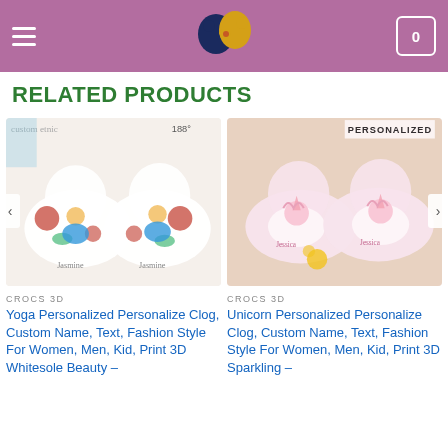Website header with hamburger menu, logo, and cart icon showing 0
RELATED PRODUCTS
[Figure (photo): Yoga Personalized Crocs clog shoes with floral and yoga girl design, custom name Jasmine]
CROCS 3D
Yoga Personalized Personalize Clog, Custom Name, Text, Fashion Style For Women, Men, Kid, Print 3D Whitesole Beauty –
[Figure (photo): Unicorn Personalized Crocs clog shoes with pink unicorn design, custom name Jessica, labeled PERSONALIZED]
CROCS 3D
Unicorn Personalized Personalize Clog, Custom Name, Text, Fashion Style For Women, Men, Kid, Print 3D Sparkling –